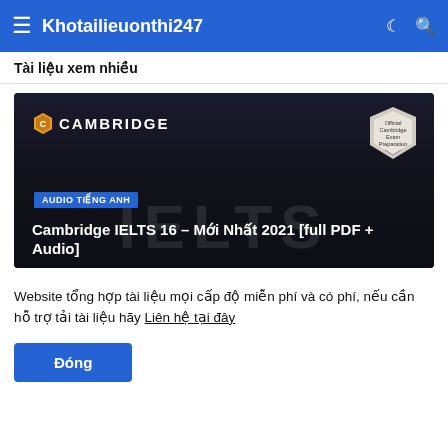Khotailieuonthi247
Tài liệu xem nhiều
[Figure (screenshot): Cambridge IELTS 16 promotional card with dark background, Cambridge logo top left, official badge top right, AUDIO TIẾNG ANH tag, title 'Cambridge IELTS 16 – Mới Nhất 2021 [full PDF + Audio]', IELTS watermark text]
Website tổng hợp tài liệu mọi cấp độ miễn phí và có phí, nếu cần hỗ trợ tải tài liệu hãy Liên hệ tại đây
Đóng